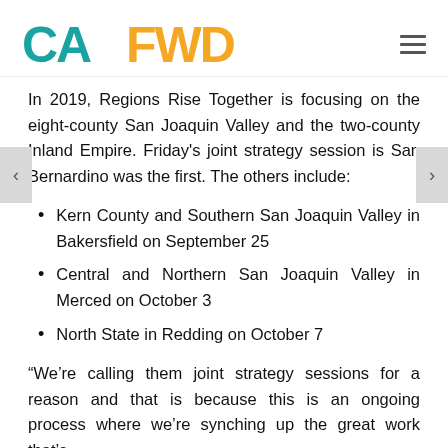CAFWD
In 2019, Regions Rise Together is focusing on the eight-county San Joaquin Valley and the two-county Inland Empire. Friday's joint strategy session is San Bernardino was the first. The others include:
Kern County and Southern San Joaquin Valley in Bakersfield on September 25
Central and Northern San Joaquin Valley in Merced on October 3
North State in Redding on October 7
“We’re calling them joint strategy sessions for a reason and that is because this is an ongoing process where we’re synching up the great work that’s